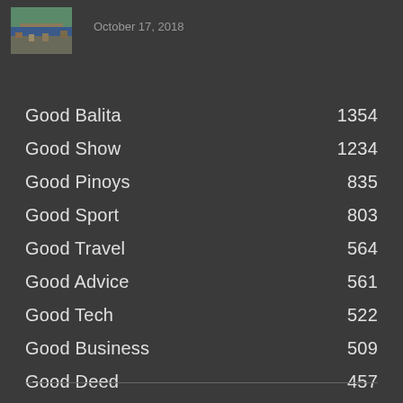[Figure (photo): Aerial thumbnail photo of a city/bridge scene]
October 17, 2018
Good Balita    1354
Good Show    1234
Good Pinoys    835
Good Sport    803
Good Travel    564
Good Advice    561
Good Tech    522
Good Business    509
Good Deed    457